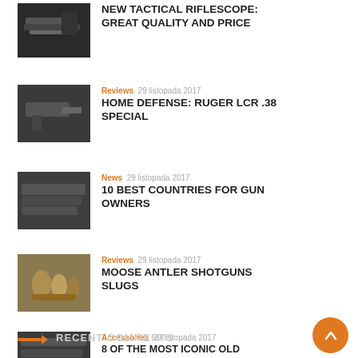[Figure (photo): Tactical riflescope photo (dark)]
NEW TACTICAL RIFLESCOPE: GREAT QUALITY AND PRICE
[Figure (photo): Ruger LCR .38 Special handgun photo]
Reviews 29 listopada 2017
HOME DEFENSE: RUGER LCR .38 SPECIAL
[Figure (photo): Guns/firearms photo]
News 29 listopada 2017
10 BEST COUNTRIES FOR GUN OWNERS
[Figure (photo): Shotgun slugs/ammunition photo]
Reviews 29 listopada 2017
MOOSE ANTLER SHOTGUNS SLUGS
[Figure (photo): Old west revolvers photo]
Accessories 29 listopada 2017
8 OF THE MOST ICONIC OLD WEST REVOLVERS
RECENT COMMENTS